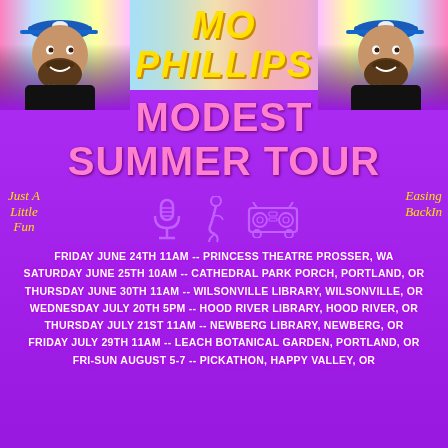MO PHILLIPS
MODEST SUMMER TOUR
[Figure (illustration): Two photos of Mo Phillips (bearded man wearing a blue baseball cap) mirrored on left and right sides at the top, against a holographic rainbow background. Center decorative icons: microphone, flamingo, boombox. Script text on left reads 'Just A Little Fun' and on right 'Easing Back In'.]
FRIDAY JUNE 24TH 11AM -- PRINCESS THEATRE PROSSER, WA
SATURDAY JUNE 25TH 10AM -- CATHEDRAL PARK PORCH, PORTLAND, OR
THURSDAY JUNE 30TH 11AM -- WILSONVILLE LIBRARY, WILSONVILLE, OR
WEDNESDAY JULY 20TH 5PM -- HOOD RIVER LIBRARY, HOOD RIVER, OR
THURSDAY JULY 21ST 11AM -- NEWBERG LIBRARY, NEWBERG, OR
FRIDAY JULY 29TH 11AM -- LEACH BOTANICAL GARDEN, PORTLAND, OR
FRI-SUN AUGUST 5-7 -- PICKATHON, HAPPY VALLEY, OR